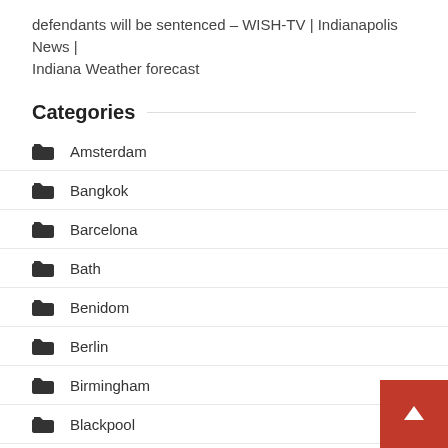defendants will be sentenced – WISH-TV | Indianapolis News | Indiana Weather forecast
Categories
Amsterdam
Bangkok
Barcelona
Bath
Benidom
Berlin
Birmingham
Blackpool
Boston